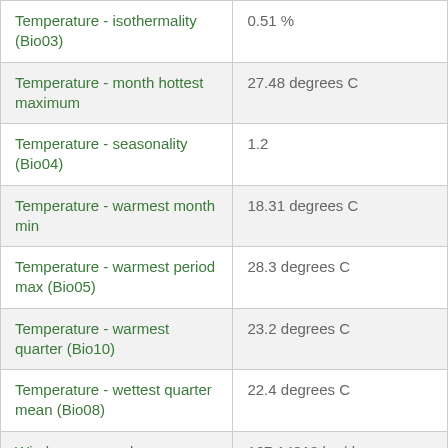| Variable | Value |
| --- | --- |
| Temperature - isothermality (Bio03) | 0.51 % |
| Temperature - month hottest maximum | 27.48 degrees C |
| Temperature - seasonality (Bio04) | 1.2 |
| Temperature - warmest month min | 18.31 degrees C |
| Temperature - warmest period max (Bio05) | 28.3 degrees C |
| Temperature - warmest quarter (Bio10) | 23.2 degrees C |
| Temperature - wettest quarter mean (Bio08) | 22.4 degrees C |
| Wind run - annual mean | 167.14313 km/day |
| WorldClim 2.1: Temperature - annual mean | 16.070833 °C |
| WorldClim Precipitation... | 1500.0... |